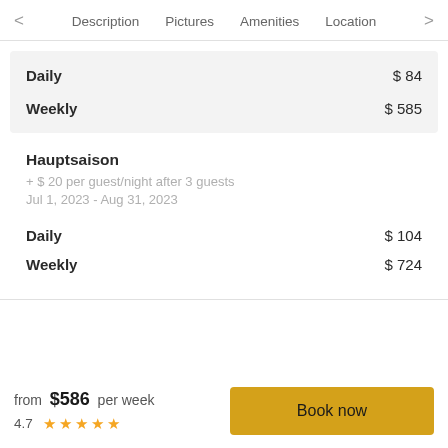Description   Pictures   Amenities   Location
|  |  |
| --- | --- |
| Daily | $ 84 |
| Weekly | $ 585 |
Hauptsaison
+ $ 20 per guest/night after 3 guests
Jul 1, 2023 - Aug 31, 2023
|  |  |
| --- | --- |
| Daily | $ 104 |
| Weekly | $ 724 |
from $586 per week  4.7 ★★★★★  Book now